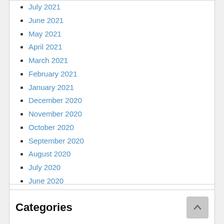July 2021
June 2021
May 2021
April 2021
March 2021
February 2021
January 2021
December 2020
November 2020
October 2020
September 2020
August 2020
July 2020
June 2020
May 2020
April 2020
March 2020
February 2020
Categories